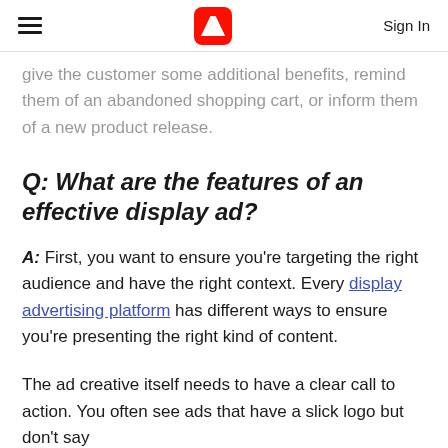Adobe logo | Sign In
give the customer some additional benefits, remind them of an abandoned shopping cart, or inform them of a new product release.
Q: What are the features of an effective display ad?
A: First, you want to ensure you're targeting the right audience and have the right context. Every display advertising platform has different ways to ensure you're presenting the right kind of content.
The ad creative itself needs to have a clear call to action. You often see ads that have a slick logo but don't say